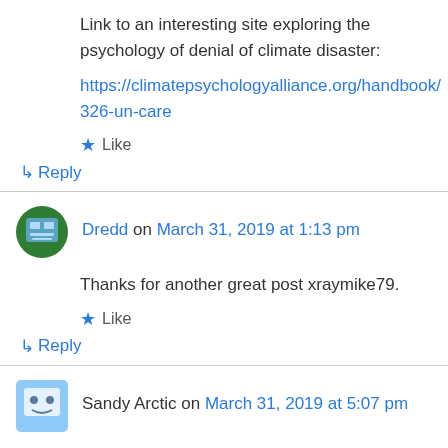Link to an interesting site exploring the psychology of denial of climate disaster:
https://climatepsychologyalliance.org/handbook/326-un-care
★ Like
↳ Reply
Dredd on March 31, 2019 at 1:13 pm
Thanks for another great post xraymike79.
★ Like
↳ Reply
Sandy Arctic on March 31, 2019 at 5:07 pm